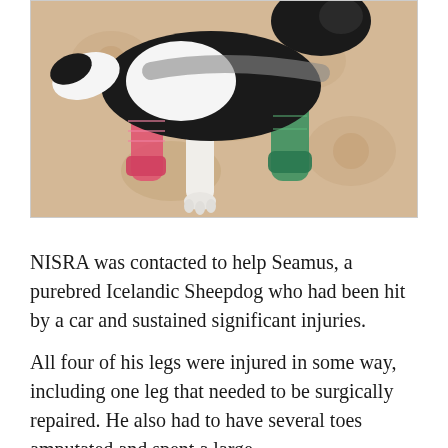[Figure (photo): A dog (Seamus, an Icelandic Sheepdog) lying on a floral-patterned rug with bandaged and cast legs — pink bandage on one leg, green cast on another, white bandage on a front leg. The dog has black and white fur.]
NISRA was contacted to help Seamus, a purebred Icelandic Sheepdog who had been hit by a car and sustained significant injuries.
All four of his legs were injured in some way, including one leg that needed to be surgically repaired. He also had to have several toes amputated and spent a large